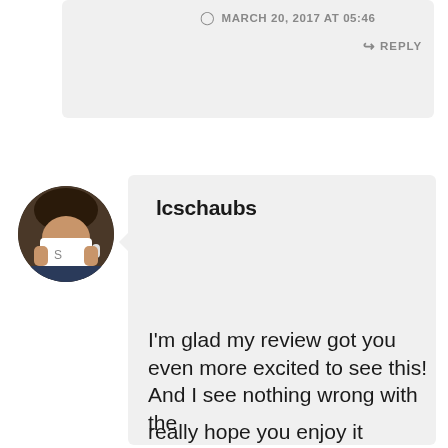MARCH 20, 2017 AT 05:46
REPLY
[Figure (photo): Circular avatar photo of a person drinking from a white mug]
lcschaubs
I'm glad my review got you even more excited to see this! And I see nothing wrong with the
Privacy & Cookies: This site uses cookies. By continuing to use this website, you agree to their use. To find out more, including how to control cookies, see here: Cookie Policy
Close and accept
really hope you enjoy it